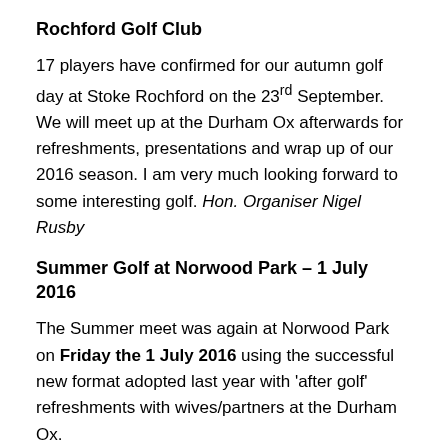Rochford Golf Club
17 players have confirmed for our autumn golf day at Stoke Rochford on the 23rd September. We will meet up at the Durham Ox afterwards for refreshments, presentations and wrap up of our 2016 season. I am very much looking forward to some interesting golf. Hon. Organiser Nigel Rusby
Summer Golf at Norwood Park – 1 July 2016
The Summer meet was again at Norwood Park on Friday the 1 July 2016 using the successful new format adopted last year with 'after golf' refreshments with wives/partners at the Durham Ox.
Spring Open at the Nottinghamshire Golf & Country Club